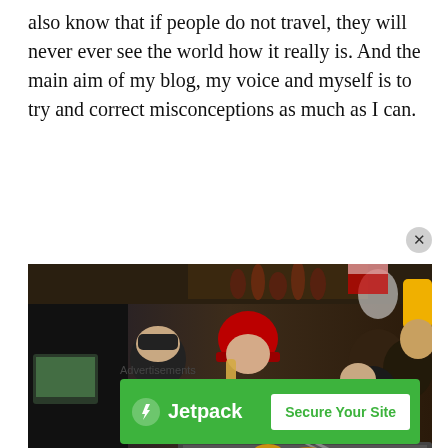also know that if people do not travel, they will never ever see the world how it really is. And the main aim of my blog, my voice and myself is to try and correct misconceptions as much as I can.
[Figure (photo): A scene at an outdoor market or food stall. A woman wearing a red cap and black t-shirt with 'Master of Fire' text is cooking at a griddle, reaching forward with tongs. Behind her are hanging meat cuts, steam, and a crowd of people watching. A man with a black beanie stands to her left near a register/scale.]
Advertisements
[Figure (screenshot): Jetpack advertisement banner with green background. Shows Jetpack logo (lightning bolt circle icon) and 'Jetpack' text in white on the left, and a 'Secure Your Site' button on the right.]